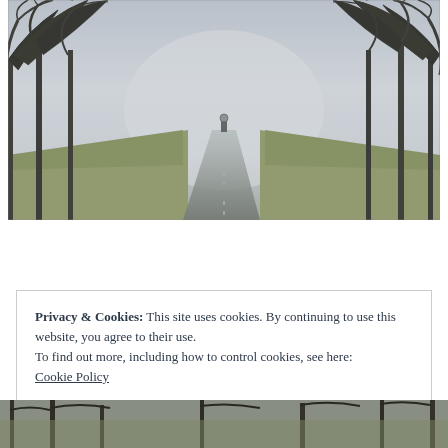[Figure (photo): A misty, foggy country road stretching into the distance, flanked by bare leafless trees on both sides. The road leads through pale green fields into heavy fog. A road sign is barely visible in the distance. Dark tree branches frame the top of the image.]
Privacy & Cookies: This site uses cookies. By continuing to use this website, you agree to their use.
To find out more, including how to control cookies, see here:
Cookie Policy
[Figure (photo): Partial photo visible at bottom of page, showing bare winter trees, similar style to the top photo.]